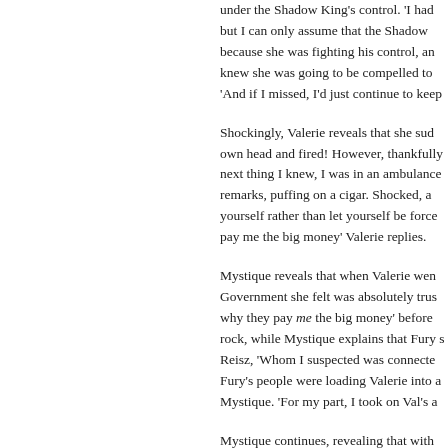under the Shadow King's control. 'I had but I can only assume that the Shadow because she was fighting his control, an knew she was going to be compelled to 'And if I missed, I'd just continue to keep
Shockingly, Valerie reveals that she sud own head and fired! However, thankfully next thing I knew, I was in an ambulance remarks, puffing on a cigar. Shocked, a yourself rather than let yourself be force pay me the big money' Valerie replies.
Mystique reveals that when Valerie wen Government she felt was absolutely trus why they pay me the big money' before rock, while Mystique explains that Fury s Reisz, 'Whom I suspected was connecte Fury's people were loading Valerie into a Mystique. 'For my part, I took on Val's a
Mystique continues, revealing that with conscious belief that she was Val 'Else